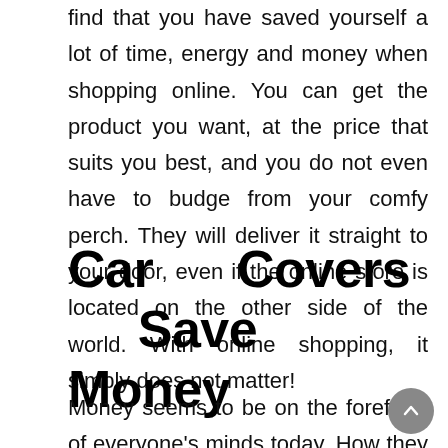find that you have saved yourself a lot of time, energy and money when shopping online. You can get the product you want, at the price that suits you best, and you do not even have to budge from your comfy perch. They will deliver it straight to your door, even if the online store is located on the other side of the world. With online shopping, it simply does not matter!
Car Covers Save Money
Money seems to be on the forefront of everyone's minds today. How they can save